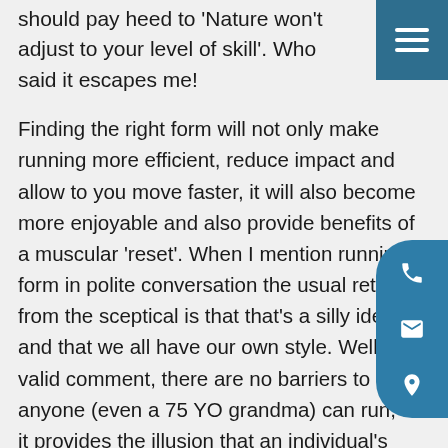should pay heed to 'Nature won't adjust to your level of skill'. Who said it escapes me!
Finding the right form will not only make running more efficient, reduce impact and allow to you move faster, it will also become more enjoyable and also provide benefits of a muscular 'reset'. When I mention running form in polite conversation the usual retort from the sceptical is that that's a silly idea, and that we all have our own style. Well it's a valid comment, there are no barriers to entry, anyone (even a 75 YO grandma) can run, so it provides the illusion that an individual's personal style of running is correct to that individuals bio mechanics. The thing is people wouldn't even question the idea that you need to coach the Olympic Lifts or swimming. The barriers to entry are steep (death by 100kg of iron, or death by drowning…!) running and even